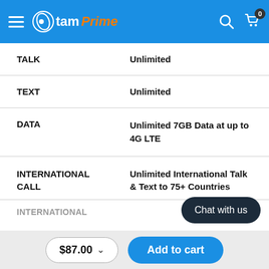tam Prime — navigation header with hamburger menu, logo, search and cart icons
| Feature | Details |
| --- | --- |
| TALK | Unlimited |
| TEXT | Unlimited |
| DATA | Unlimited 7GB Data at up to 4G LTE |
| INTERNATIONAL CALL | Unlimited International Talk & Text to 75+ Countries |
| INTERNATIONAL |  |